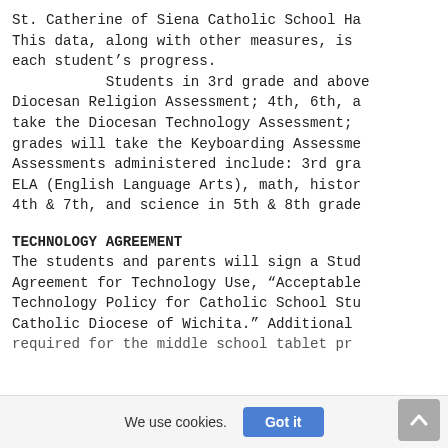St. Catherine of Siena Catholic School Ha
This data, along with other measures, is
each student's progress.
           Students in 3rd grade and above
Diocesan Religion Assessment; 4th, 6th, a
take the Diocesan Technology Assessment;
grades will take the Keyboarding Assessme
Assessments administered include: 3rd gra
ELA (English Language Arts), math, histor
4th & 7th, and science in 5th & 8th grade
TECHNOLOGY AGREEMENT
The students and parents will sign a Stud
Agreement for Technology Use, “Acceptable
Technology Policy for Catholic School Stu
Catholic Diocese of Wichita.” Additional
required for the middle school tablet pr
We use cookies.   Got it